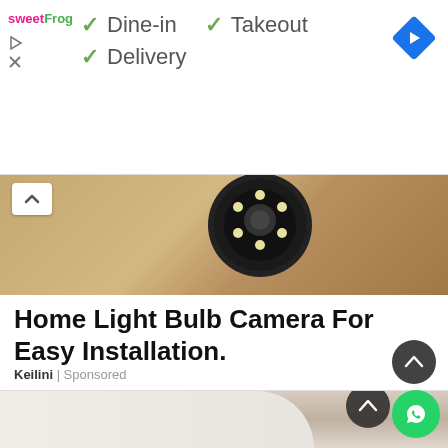[Figure (screenshot): sweetFrog advertisement banner with Dine-in, Takeout, Delivery options and navigation icon]
[Figure (photo): Close-up photo of a security camera light bulb mounted on a sandy/stone wall]
Home Light Bulb Camera For Easy Installation.
Keilini | Sponsored
[Figure (photo): Photo of a person sleeping in white clothing on a bed]